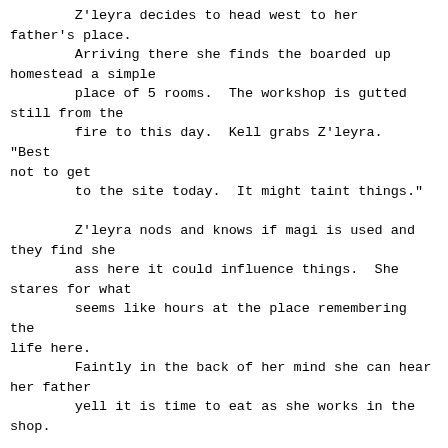Z'leyra decides to head west to her father's place.
        Arriving there she finds the boarded up homestead a simple
        place of 5 rooms.  The workshop is gutted still from the
        fire to this day.  Kell grabs Z'leyra.  "Best not to get
        to the site today.  It might taint things."

        Z'leyra nods and knows if magi is used and they find she
        ass here it could influence things.  She stares for what
        seems like hours at the place remembering the life here.
        Faintly in the back of her mind she can hear her father
        yell it is time to eat as she works in the shop.

        [Time: 2:30 pm]

        Z'leyra heads down the street to a friend.  Old lady Poorda
        was always kind.  At least to her father.  To her she saw
        the Barbarian and felt she was too feral.  Even after she
        was shown her degrees the woman was polite but aloof.